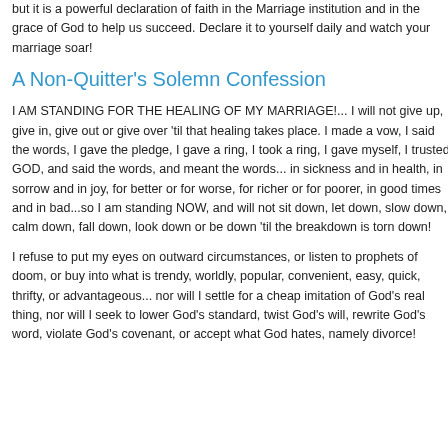but it is a powerful declaration of faith in the Marriage institution and in the grace of God to help us succeed. Declare it to yourself daily and watch your marriage soar!
A Non-Quitter's Solemn Confession
I AM STANDING FOR THE HEALING OF MY MARRIAGE!... I will not give up, give in, give out or give over 'til that healing takes place. I made a vow, I said the words, I gave the pledge, I gave a ring, I took a ring, I gave myself, I trusted GOD, and said the words, and meant the words... in sickness and in health, in sorrow and in joy, for better or for worse, for richer or for poorer, in good times and in bad...so I am standing NOW, and will not sit down, let down, slow down, calm down, fall down, look down or be down 'til the breakdown is torn down!
I refuse to put my eyes on outward circumstances, or listen to prophets of doom, or buy into what is trendy, worldly, popular, convenient, easy, quick, thrifty, or advantageous... nor will I settle for a cheap imitation of God's real thing, nor will I seek to lower God's standard, twist God's will, rewrite God's word, violate God's covenant, or accept what God hates, namely divorce!